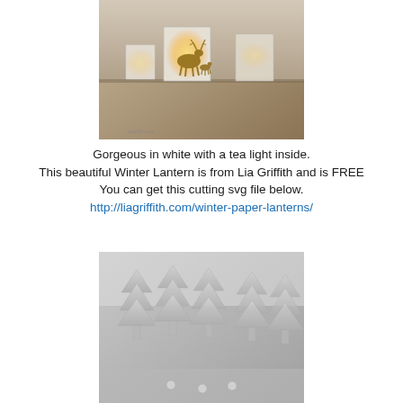[Figure (photo): Photo of white paper winter lanterns with tea light inside glowing amber, showing reindeer silhouettes cut from paper, arranged in a row on a wooden surface. Watermark: liagriffith.com]
Gorgeous in white with a tea light inside.
This beautiful Winter Lantern is from Lia Griffith and is FREE
You can get this cutting svg file below.
http://liagriffith.com/winter-paper-lanterns/
[Figure (photo): Close-up photo of white/grey paper Christmas trees, layered cut-outs, decorative craft items arranged in a row on a surface.]